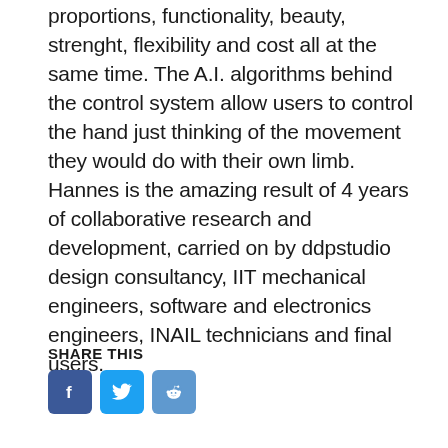proportions, functionality, beauty, strenght, flexibility and cost all at the same time. The A.I. algorithms behind the control system allow users to control the hand just thinking of the movement they would do with their own limb. Hannes is the amazing result of 4 years of collaborative research and development, carried on by ddpstudio design consultancy, IIT mechanical engineers, software and electronics engineers, INAIL technicians and final users.
SHARE THIS
[Figure (other): Social share buttons: Facebook (blue), Twitter (light blue), Reddit (light blue)]